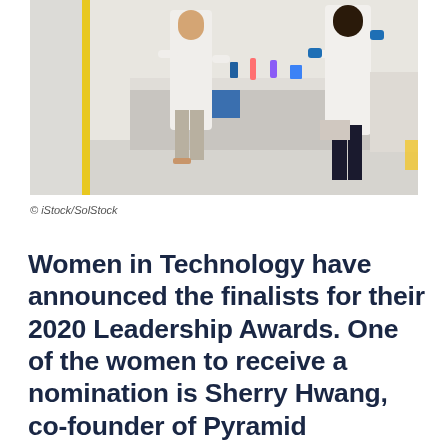[Figure (photo): Scientists in white lab coats working around a table with lab equipment in a laboratory setting. Two people are visible from behind and one from the side.]
© iStock/SolStock
Women in Technology have announced the finalists for their 2020 Leadership Awards. One of the women to receive a nomination is Sherry Hwang, co-founder of Pyramid Systems.